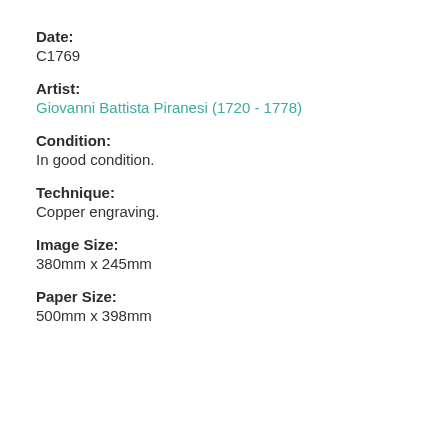Date:
C1769
Artist:
Giovanni Battista Piranesi (1720 - 1778)
Condition:
In good condition.
Technique:
Copper engraving.
Image Size:
380mm x 245mm
Paper Size:
500mm x 398mm